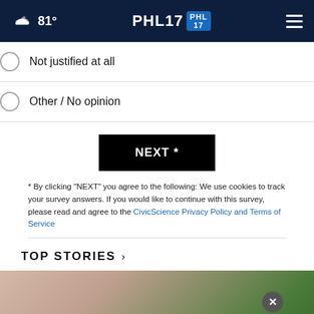PHL17  81°
Not justified at all
Other / No opinion
NEXT *
* By clicking "NEXT" you agree to the following: We use cookies to track your survey answers. If you would like to continue with this survey, please read and agree to the CivicScience Privacy Policy and Terms of Service
TOP STORIES ›
[Figure (photo): Close-up photo of elderly person's face with white hair, partially obscured by a dark overlay bar and a close button. Background shows green foliage.]